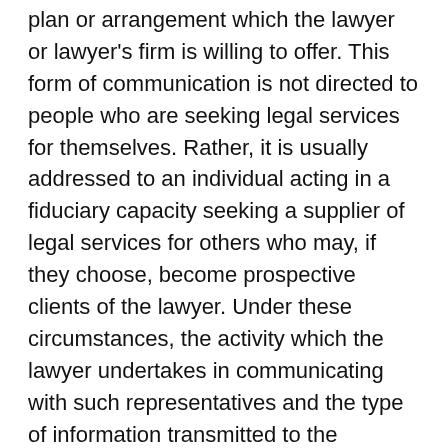plan or arrangement which the lawyer or lawyer's firm is willing to offer. This form of communication is not directed to people who are seeking legal services for themselves. Rather, it is usually addressed to an individual acting in a fiduciary capacity seeking a supplier of legal services for others who may, if they choose, become prospective clients of the lawyer. Under these circumstances, the activity which the lawyer undertakes in communicating with such representatives and the type of information transmitted to the individual are functionally similar to and serve the same purpose as advertising permitted under Rule 7.2.
[8] The requirement in Rule 7.3(c) that certain communications be marked "Advertising Material" does not apply to communications sent in response to requests of potential clients or their spokespersons or